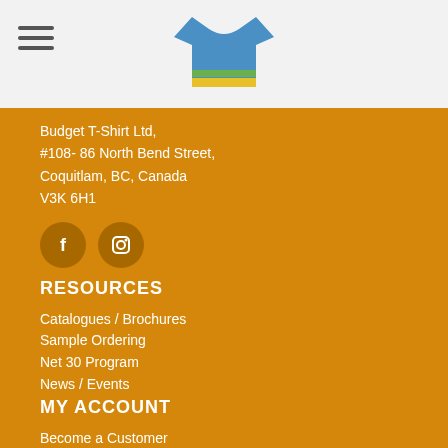[Figure (logo): Budget T-Shirt logo: t-shirt silhouette with blue, green, and yellow horizontal stripes]
Budget T-Shirt Ltd,
#108- 86 North Bend Street,
Coquitlam, BC, Canada
V3K 6H1
[Figure (infographic): Facebook and Instagram social media icon buttons]
RESOURCES
Catalogues / Brochures
Sample Ordering
Net 30 Program
News / Events
MY ACCOUNT
Become a Customer
Order Status
Order Statement